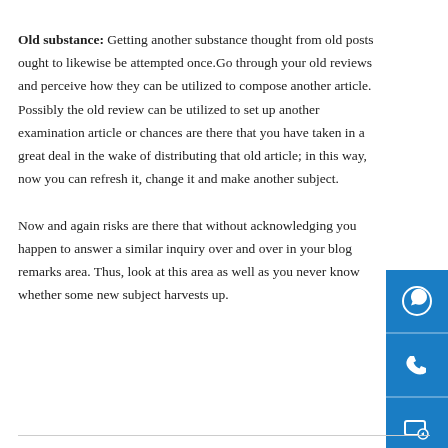Old substance: Getting another substance thought from old posts ought to likewise be attempted once.Go through your old reviews and perceive how they can be utilized to compose another article. Possibly the old review can be utilized to set up another examination article or chances are there that you have taken in a great deal in the wake of distributing that old article; in this way, now you can refresh it, change it and make another subject.

Now and again risks are there that without acknowledging you happen to answer a similar inquiry over and over in your blog remarks area. Thus, look at this area as well as you never know whether some new subject harvests up.
[Figure (other): Blue sidebar with four icon buttons: WhatsApp, phone, video/screen share, and location pin]